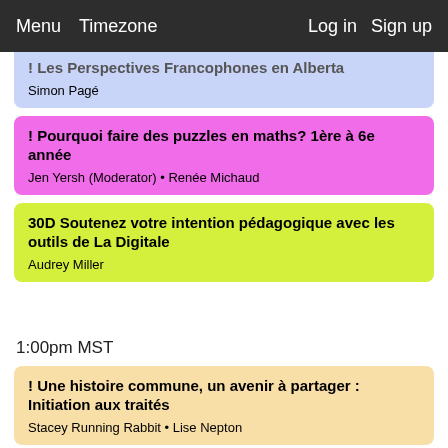Menu  Timezone  Log in  Sign up
! Les Perspectives Francophones en Alberta
Simon Pagé
! Pourquoi faire des puzzles en maths? 1ère à 6e année
Jen Yersh (Moderator) • Renée Michaud
30D Soutenez votre intention pédagogique avec les outils de La Digitale
Audrey Miller
1:00pm MST
! Une histoire commune, un avenir à partager : Initiation aux traités
Stacey Running Rabbit • Lise Nepton